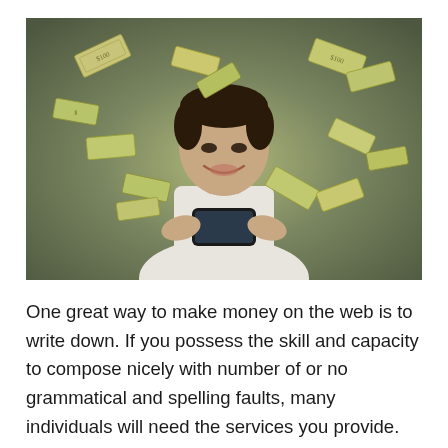[Figure (photo): A smiling young man looking down at a smartphone he is holding with both hands, surrounded by flying dollar bills/money floating in the air around him, against a muted olive-green background.]
One great way to make money on the web is to write down. If you possess the skill and capacity to compose nicely with number of or no grammatical and spelling faults, many individuals will need the services you provide. Creating work may be anything from rewriting terribly created information and